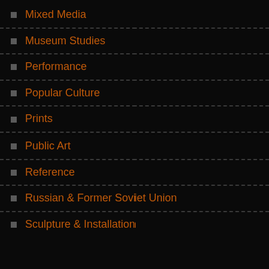Mixed Media
Museum Studies
Performance
Popular Culture
Prints
Public Art
Reference
Russian & Former Soviet Union
Sculpture & Installation